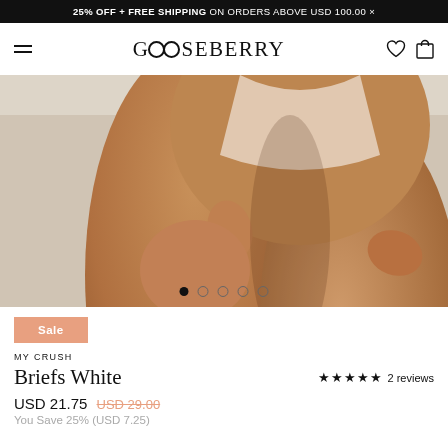25% OFF + FREE SHIPPING ON ORDERS ABOVE USD 100.00 ×
GOOSEBERRY
[Figure (photo): Close-up photo of a model wearing white lace briefs, showing legs and lower body from behind against a light grey background, with image carousel dots below.]
Sale
MY CRUSH
Briefs White
★★★★★ 2 reviews
USD 21.75  USD 29.00
You Save 25% (USD 7.25)